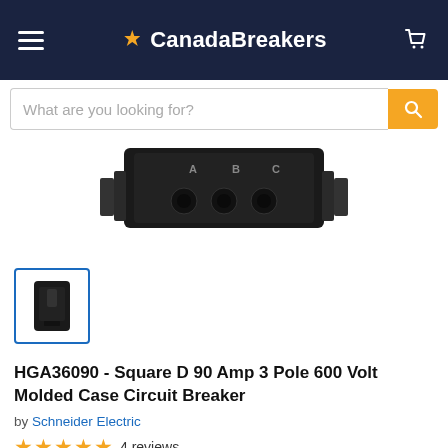CanadaBreakers
[Figure (screenshot): Search bar with placeholder text 'What are you looking for?' and orange search button]
[Figure (photo): Square D circuit breaker product image showing top view with terminals labeled A, B, C]
[Figure (photo): Small thumbnail image of Square D circuit breaker in blue border]
HGA36090 - Square D 90 Amp 3 Pole 600 Volt Molded Case Circuit Breaker
by Schneider Electric
★★★★★ 4 reviews
$909.00 USD  New &  In Stock